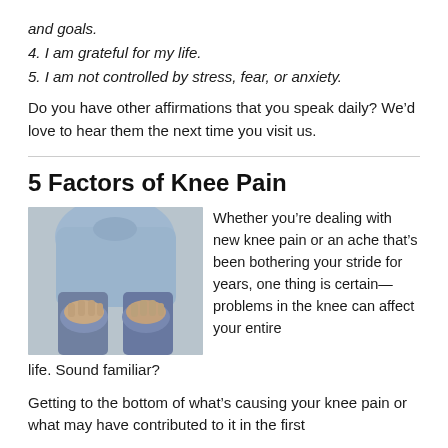and goals.
4. I am grateful for my life.
5. I am not controlled by stress, fear, or anxiety.
Do you have other affirmations that you speak daily? We’d love to hear them the next time you visit us.
5 Factors of Knee Pain
[Figure (photo): Person sitting and holding their knee with both hands, wearing jeans and a light blue shirt, suggesting knee pain or discomfort.]
Whether you’re dealing with new knee pain or an ache that’s been bothering your stride for years, one thing is certain—problems in the knee can affect your entire life. Sound familiar?
Getting to the bottom of what’s causing your knee pain or what may have contributed to it in the first